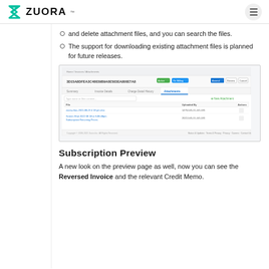ZUORA
and delete attachment files, and you can search the files.
The support for downloading existing attachment files is planned for future releases.
[Figure (screenshot): Screenshot of Zuora UI showing an attachment management page with a file list table, search bar, and New Attachment button.]
Subscription Preview
A new look on the preview page as well, now you can see the Reversed Invoice and the relevant Credit Memo.